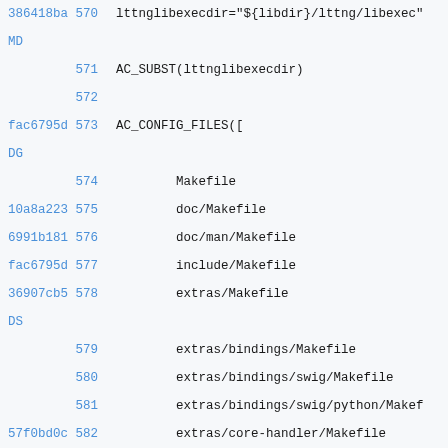386418ba MD 570 lttnglibexecdir="${libdir}/lttng/libexec"
571 AC_SUBST(lttnglibexecdir)
572
fac6795d DG 573 AC_CONFIG_FILES([
574     Makefile
10a8a223 575     doc/Makefile
6991b181 576     doc/man/Makefile
fac6795d 577     include/Makefile
36907cb5 DS 578     extras/Makefile
579     extras/bindings/Makefile
580     extras/bindings/swig/Makefile
581     extras/bindings/swig/python/Makef
57f0bd0c 582     extras/core-handler/Makefile
10a8a223 DG 583     src/Makefile
584     src/common/Makefile
585     src/common/kernel_ctl/Makefile